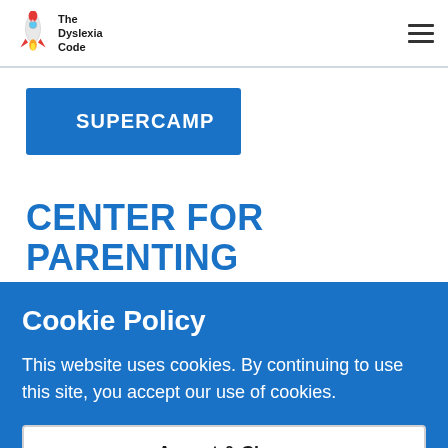The Dyslexia Code
SUPERCAMP
CENTER FOR PARENTING EDUCATION
Cookie Policy
This website uses cookies. By continuing to use this site, you accept our use of cookies.
Accept & Close